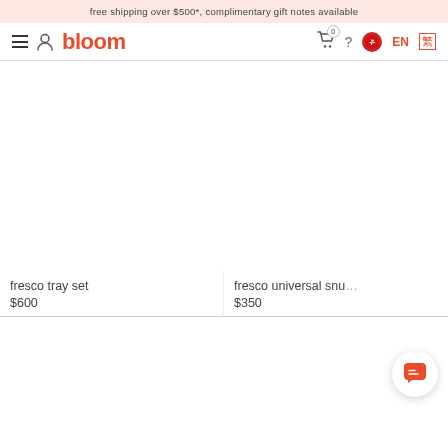free shipping over $500*, complimentary gift notes available
[Figure (screenshot): Bloom e-commerce website navigation bar with hamburger menu, user icon, bloom logo in orange-red, cart icon with 0 badge, question mark, Hong Kong flag, EN language selector, and Chinese character toggle]
[Figure (photo): Product image area for fresco tray set - white/blank product image]
fresco tray set
$600
[Figure (photo): Product image area for fresco universal snug - white/blank product image (partially cut off)]
fresco universal snu...
$350